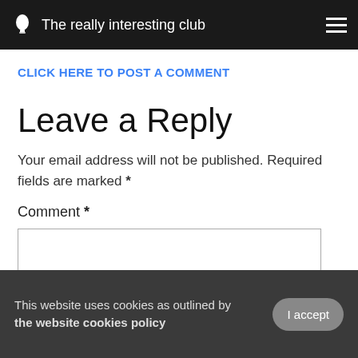The really interesting club
CLICK HERE TO POST A COMMENT
Leave a Reply
Your email address will not be published. Required fields are marked *
Comment *
This website uses cookies as outlined by the website cookies policy  I accept